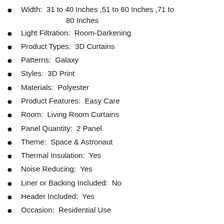Width:  31 to 40 Inches ,51 to 60 Inches ,71 to 80 Inches
Light Filtration:  Room-Darkening
Product Types:  3D Curtains
Patterns:  Galaxy
Styles:  3D Print
Materials:  Polyester
Product Features:  Easy Care
Room:  Living Room Curtains
Panel Quantity:  2 Panel
Theme:  Space & Astronaut
Thermal Insulation:  Yes
Noise Reducing:  Yes
Liner or Backing Included:  No
Header Included:  Yes
Occasion:  Residential Use